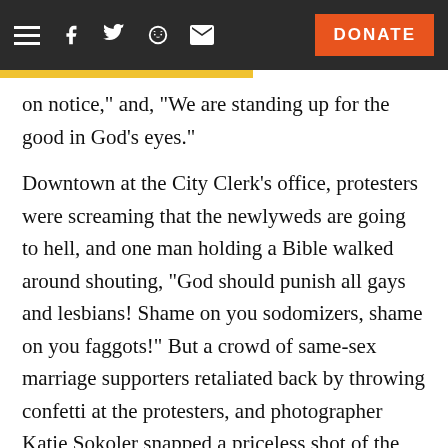Navigation bar with hamburger menu, Facebook, Twitter, Reddit, email icons and DONATE button
on notice," and, "We are standing up for the good in God's eyes."
Downtown at the City Clerk's office, protesters were screaming that the newlyweds are going to hell, and one man holding a Bible walked around shouting, "God should punish all gays and lesbians! Shame on you sodomizers, shame on you faggots!" But a crowd of same-sex marriage supporters retaliated back by throwing confetti at the protesters, and photographer Katie Sokoler snapped a priceless shot of the Bible-thumping demonstrator in a cloud